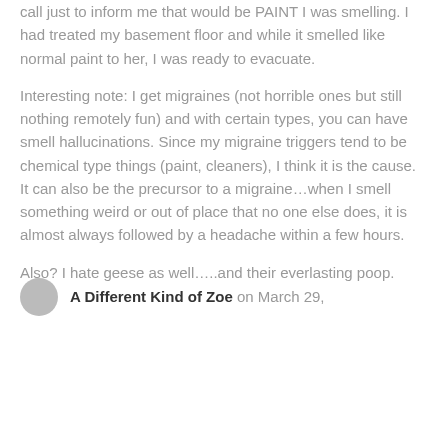call just to inform me that would be PAINT I was smelling. I had treated my basement floor and while it smelled like normal paint to her, I was ready to evacuate.
Interesting note: I get migraines (not horrible ones but still nothing remotely fun) and with certain types, you can have smell hallucinations. Since my migraine triggers tend to be chemical type things (paint, cleaners), I think it is the cause. It can also be the precursor to a migraine…when I smell something weird or out of place that no one else does, it is almost always followed by a headache within a few hours.
Also? I hate geese as well…..and their everlasting poop.
A Different Kind of Zoe on March 29,